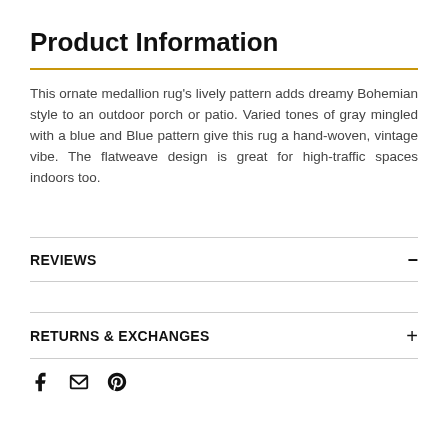Product Information
This ornate medallion rug's lively pattern adds dreamy Bohemian style to an outdoor porch or patio. Varied tones of gray mingled with a blue and Blue pattern give this rug a hand-woven, vintage vibe. The flatweave design is great for high-traffic spaces indoors too.
REVIEWS
RETURNS & EXCHANGES